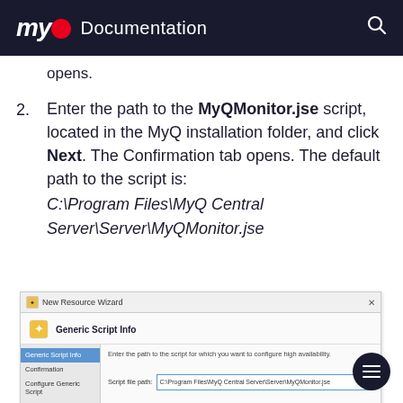myQ Documentation
opens.
2. Enter the path to the MyQMonitor.jse script, located in the MyQ installation folder, and click Next. The Confirmation tab opens. The default path to the script is: C:\Program Files\MyQ Central Server\Server\MyQMonitor.jse
[Figure (screenshot): New Resource Wizard dialog showing Generic Script Info step. Sidebar has Generic Script Info (highlighted in blue), Confirmation, Configure Generic Script, Summary. Main area shows instruction text and Script file path input field containing C:\Program Files\MyQ Central Server\Server\MyQMonitor.jse]